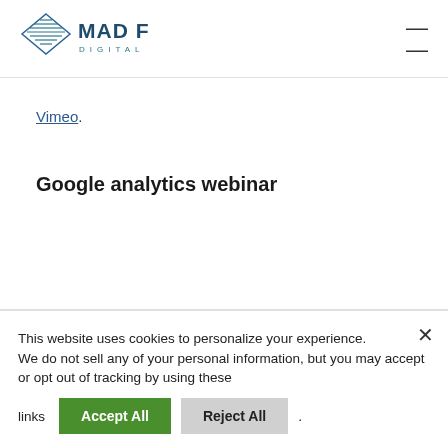[Figure (logo): Mad Fish Digital logo — diamond-shaped icon with horizontal lines in blue/teal, next to bold text 'MAD FISH' with 'DIGITAL' in smaller spaced letters below]
Vimeo.
Google analytics webinar
This website uses cookies to personalize your experience.
We do not sell any of your personal information, but you may accept or opt out of tracking by using these links  Accept All  Reject All .